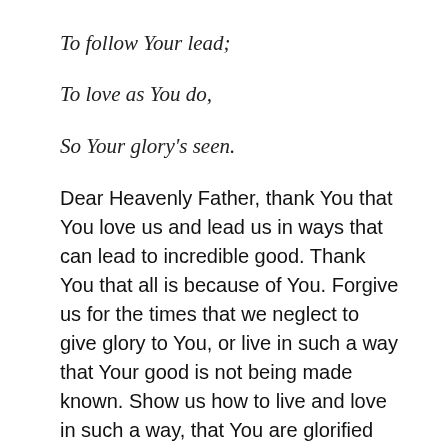To follow Your lead;
To love as You do,
So Your glory's seen.
Dear Heavenly Father, thank You that You love us and lead us in ways that can lead to incredible good. Thank You that all is because of You. Forgive us for the times that we neglect to give glory to You, or live in such a way that Your good is not being made known. Show us how to live and love in such a way, that You are glorified for all. May many come into a lasting relationship with You, Lord. Be glorified O God, as we seek to do the good